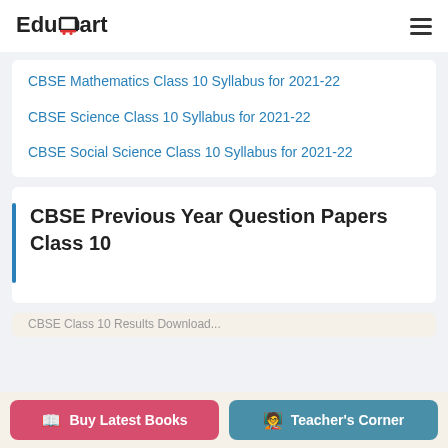EduCart
CBSE Mathematics Class 10 Syllabus for 2021-22
CBSE Science Class 10 Syllabus for 2021-22
CBSE Social Science Class 10 Syllabus for 2021-22
CBSE Previous Year Question Papers Class 10
Buy Latest Books | Teacher's Corner